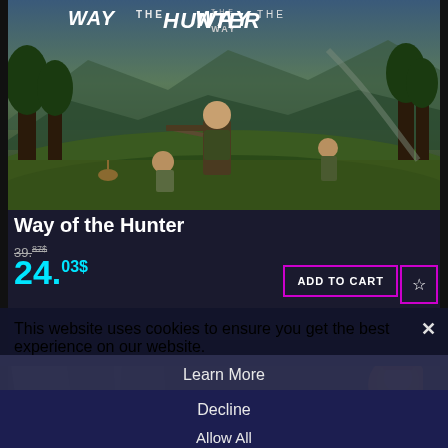[Figure (screenshot): Way of the Hunter game cover art showing hunters in a forest landscape with the game logo at the top]
Way of the Hunter
39.87$ (strikethrough old price) 24.03$
ADD TO CART
This website uses cookies to ensure you get the best experience on our website.
Learn More
Decline
Allow All